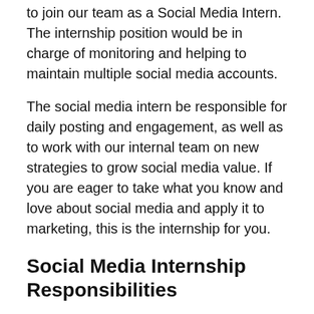to join our team as a Social Media Intern. The internship position would be in charge of monitoring and helping to maintain multiple social media accounts.
The social media intern be responsible for daily posting and engagement, as well as to work with our internal team on new strategies to grow social media value. If you are eager to take what you know and love about social media and apply it to marketing, this is the internship for you.
Social Media Internship Responsibilities
Manage multiple social media accounts and platforms
Ideate, produce, present, and schedule social